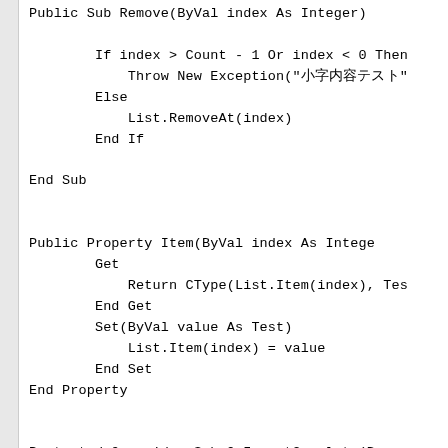Public Sub Remove(ByVal index As Integer)
    If index > Count - 1 Or index < 0 Then
        Throw New Exception("日本語文字列"
    Else
        List.RemoveAt(index)
    End If

End Sub


Public Property Item(ByVal index As Intege
    Get
        Return CType(List.Item(index), Tes
    End Get
    Set(ByVal value As Test)
        List.Item(index) = value
    End Set
End Property


Protected Overrides Sub OnInsertComplete(B
    CType(value, Test).Target = List
End Sub


End Class